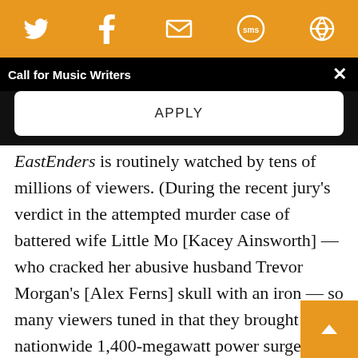Social share icons: Twitter, Facebook, Email, SMS, Other
Call for Music Writers
APPLY
EastEnders is routinely watched by tens of millions of viewers. (During the recent jury's verdict in the attempted murder case of battered wife Little Mo [Kacey Ainsworth] — who cracked her abusive husband Trevor Morgan's [Alex Ferns] skull with an iron — so many viewers tuned in that they brought on a nationwide 1,400-megawatt power surge, the equivalent of 500,000 people simultaneously turning on their electric teapots.) In the U.S., series' affiliation with PBS created a small but rabid